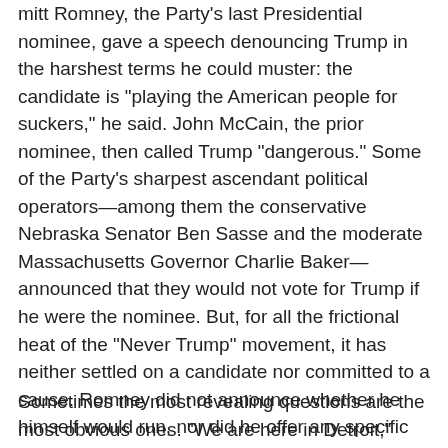mitt Romney, the Party's last Presidential nominee, gave a speech denouncing Trump in the harshest terms he could muster: the candidate is "playing the American people for suckers," he said. John McCain, the prior nominee, then called Trump "dangerous." Some of the Party's sharpest ascendant political operators—among them the conservative Nebraska Senator Ben Sasse and the moderate Massachusetts Governor Charlie Baker—announced that they would not vote for Trump if he were the nominee. But, for all the frictional heat of the "Never Trump" movement, it has neither settled on a candidate nor committed to a cause. Romney did not announce whether he himself would run, nor did he offer any specific support for Cruz, Rubio, or Kasich. Neither did Sasse, Baker, or McCain. "The battle for the soul of the GOP is now a battle for the soul of the Right," the editor of National Review declared a few weeks ago. But, if that is the case, on one side of the battle there is a profound void. The energy in the anti-Trump camp is real enough. But what is it fighting for?
Sometimes the most revealing questions are the most obvious ones. "We are here in Detroit," Fox's Bret Baier said